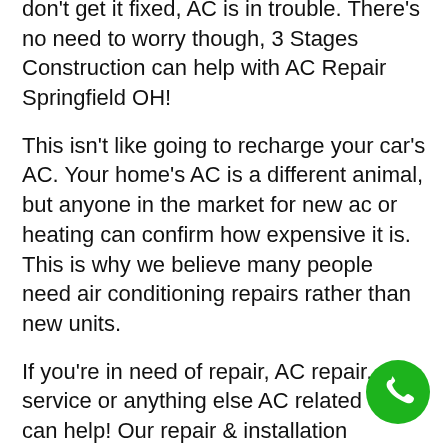don't get it fixed, AC is in trouble. There's no need to worry though, 3 Stages Construction can help with AC Repair Springfield OH!
This isn't like going to recharge your car's AC. Your home's AC is a different animal, but anyone in the market for new ac or heating can confirm how expensive it is. This is why we believe many people need air conditioning repairs rather than new units.
If you're in need of repair, AC repair, service or anything else AC related we can help! Our repair & installation technicians have years of experience in AC repair and know how to do the job right.
Consider AC repair if your unit isn't working during the hot summer months. Our "green leaf" ac and heating products are the best in Springfield & surrounding...
[Figure (other): Green circular phone call button in bottom-right corner]